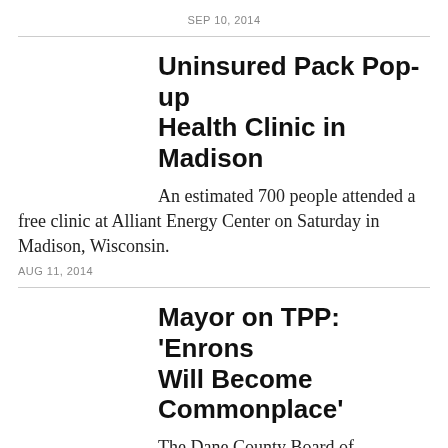SEP 10, 2014
Uninsured Pack Pop-up Health Clinic in Madison
An estimated 700 people attended a free clinic at Alliant Energy Center on Saturday in Madison, Wisconsin.
AUG 11, 2014
Mayor on TPP: 'Enrons Will Become Commonplace'
The Dane County Board of Supervisors passed a resolution this week condemning the Trans-Pacific Partnership (TPP), a NAFTA-style agreement that...